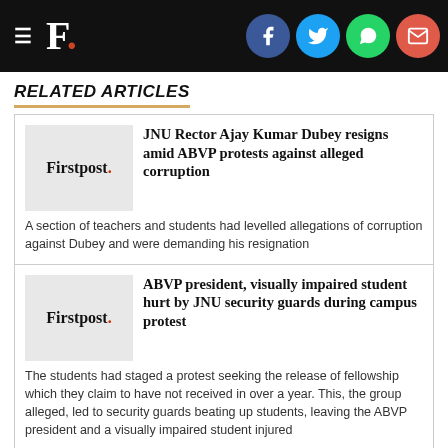F. [Firstpost logo with hamburger menu and social icons: Facebook, Twitter, WhatsApp, Email]
RELATED ARTICLES
JNU Rector Ajay Kumar Dubey resigns amid ABVP protests against alleged corruption
A section of teachers and students had levelled allegations of corruption against Dubey and were demanding his resignation
ABVP president, visually impaired student hurt by JNU security guards during campus protest
The students had staged a protest seeking the release of fellowship which they claim to have not received in over a year. This, the group alleged, led to security guards beating up students, leaving the ABVP president and a visually impaired student injured